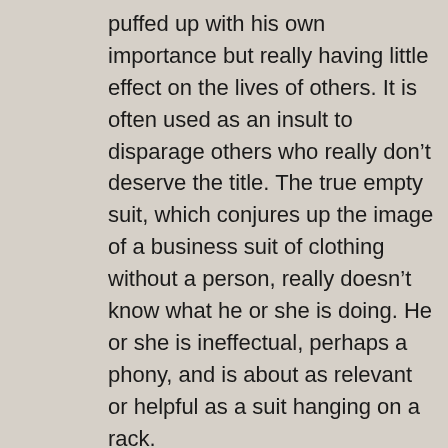puffed up with his own importance but really having little effect on the lives of others. It is often used as an insult to disparage others who really don’t deserve the title. The true empty suit, which conjures up the image of a business suit of clothing without a person, really doesn’t know what he or she is doing. He or she is ineffectual, perhaps a phony, and is about as relevant or helpful as a suit hanging on a rack.
For complete reference go to > http://www.wisegeek.com/what-is-an-empty-suit.htm